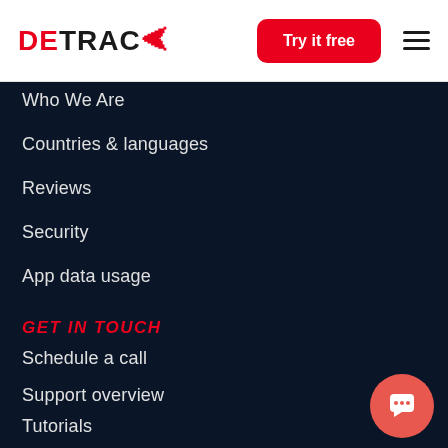DETRACK — Try it free
Who We Are
Countries & languages
Reviews
Security
App data usage
GET IN TOUCH
Schedule a call
Support overview
Tutorials
General enquiry
Ask us anything via chat